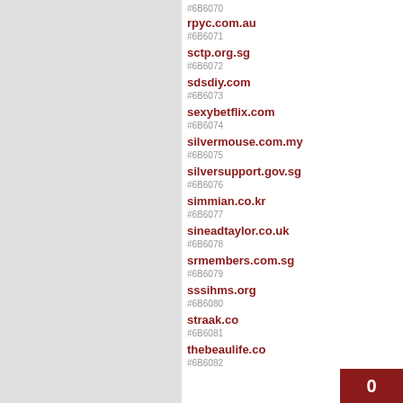#6B6070 rpyc.com.au
#6B6071 rpyc.com.au
#6B6072 sctp.org.sg
#6B6073 sdsdiy.com
#6B6074 sexybetflix.com
#6B6075 silvermouse.com.my
#6B6076 silversupport.gov.sg
#6B6077 simmian.co.kr
#6B6078 sineadtaylor.co.uk
#6B6079 srmembers.com.sg
#6B6080 sssihms.org
#6B6081 straak.co
#6B6082 thebeaulife.co